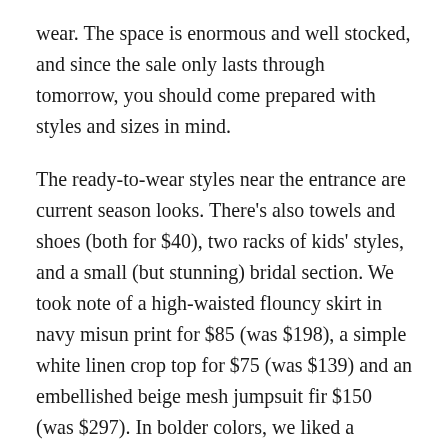wear. The space is enormous and well stocked, and since the sale only lasts through tomorrow, you should come prepared with styles and sizes in mind.
The ready-to-wear styles near the entrance are current season looks. There's also towels and shoes (both for $40), two racks of kids' styles, and a small (but stunning) bridal section. We took note of a high-waisted flouncy skirt in navy misun print for $85 (was $198), a simple white linen crop top for $75 (was $139) and an embellished beige mesh jumpsuit fir $150 (was $297). In bolder colors, we liked a rainbow black palm print romper for $100 (was $242) and a teal jacquard front cutout dress for $125 (was $277).
When you step down to the main sales floor, try not to be overwhelmed. The center has several racks of swimsuits